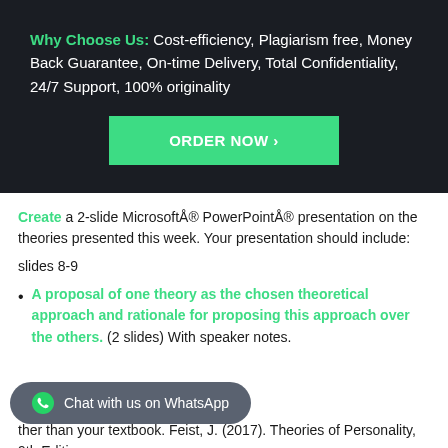Why Choose Us: Cost-efficiency, Plagiarism free, Money Back Guarantee, On-time Delivery, Total Confidentiality, 24/7 Support, 100% originality
[Figure (other): Green ORDER NOW button with right arrow]
Create a 2-slide Microsoft® PowerPoint® presentation on the theories presented this week. Your presentation should include:
slides 8-9
A proposal of one theory as the chosen theoretical approach and rationale for proposing this approach over the others. (2 slides) With speaker notes.
[Figure (other): WhatsApp chat button overlay]
ther than your textbook. Feist, J. (2017). Theories of Personality, 9th Edition